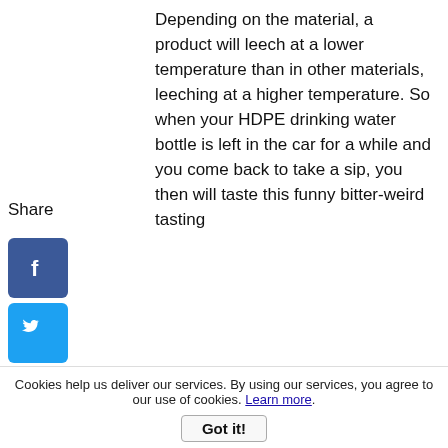Depending on the material, a product will leech at a lower temperature than in other materials, leeching at a higher temperature. So when your HDPE drinking water bottle is left in the car for a while and you come back to take a sip, you then will taste this funny bitter-weird tasting
Share
[Figure (infographic): Social sharing buttons: Facebook (blue), Twitter (light blue), Pinterest (red), Tumblr (dark blue/grey), Reddit (orange), WhatsApp (green), Messenger (blue)]
28,
HEALTH CONCERNS
by: Anonymous
I understand that the paper filters are
Cookies help us deliver our services. By using our services, you agree to our use of cookies. Learn more. Got it!